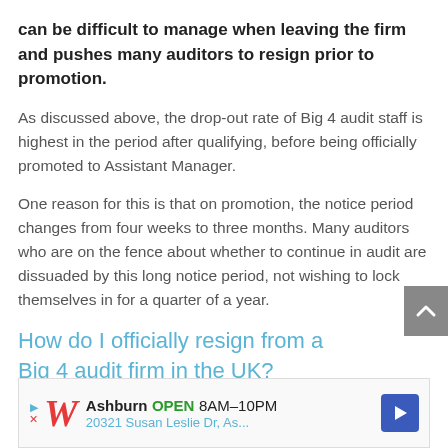can be difficult to manage when leaving the firm and pushes many auditors to resign prior to promotion.
As discussed above, the drop-out rate of Big 4 audit staff is highest in the period after qualifying, before being officially promoted to Assistant Manager.
One reason for this is that on promotion, the notice period changes from four weeks to three months. Many auditors who are on the fence about whether to continue in audit are dissuaded by this long notice period, not wishing to lock themselves in for a quarter of a year.
How do I officially resign from a Big 4 audit firm in the UK?
[Figure (other): Advertisement banner showing Walgreens store information: Ashburn OPEN 8AM-10PM, 20321 Susan Leslie Dr, As...]